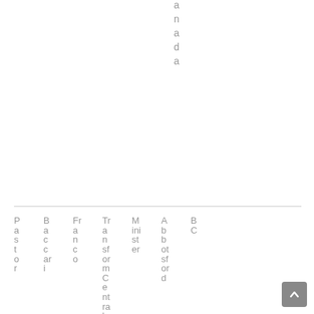a n a d a
| P a s t o r | B a c c a r i | Fr a n c o | Tr a n sf or m C e nt ra l C | M ini st er | A b b ot sf or d | B C |
| --- | --- | --- | --- | --- | --- | --- |